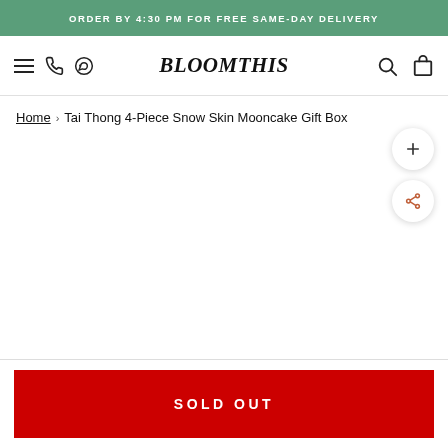ORDER BY 4:30 PM FOR FREE SAME-DAY DELIVERY
[Figure (screenshot): BloomThis e-commerce website navigation bar with hamburger menu, phone icon, WhatsApp icon on left; BloomThis logo in center; search and bag icons on right]
Home › Tai Thong 4-Piece Snow Skin Mooncake Gift Box
SOLD OUT